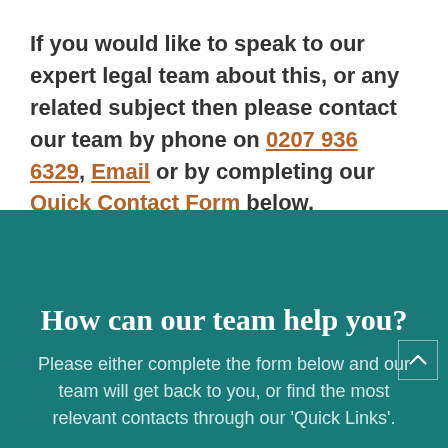If you would like to speak to our expert legal team about this, or any related subject then please contact our team by phone on 0207 936 6329, Email or by completing our Quick Contact Form below.
How can our team help you?
Please either complete the form below and our team will get back to you, or find the most relevant contacts through our 'Quick Links'.